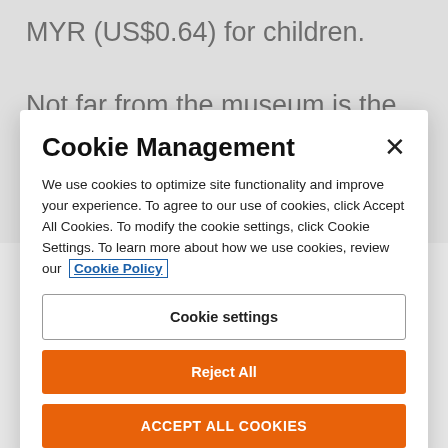MYR (US$0.64) for children.
Not far from the museum is the Perdana Botanical Garden. The garden provides a quiet escape from
Cookie Management
We use cookies to optimize site functionality and improve your experience. To agree to our use of cookies, click Accept All Cookies. To modify the cookie settings, click Cookie Settings. To learn more about how we use cookies, review our Cookie Policy
Cookie settings
Reject All
ACCEPT ALL COOKIES